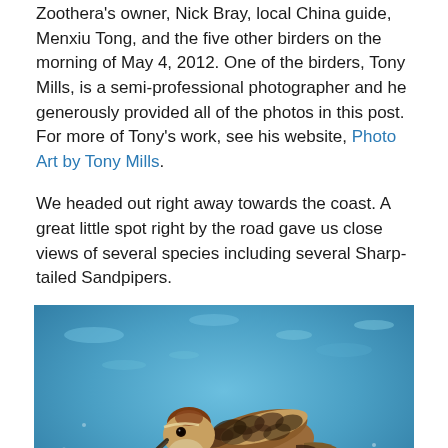Zoothera's owner, Nick Bray, local China guide, Menxiu Tong, and the five other birders on the morning of May 4, 2012. One of the birders, Tony Mills, is a semi-professional photographer and he generously provided all of the photos in this post. For more of Tony's work, see his website, Photo Art by Tony Mills.
We headed out right away towards the coast. A great little spot right by the road gave us close views of several species including several Sharp-tailed Sandpipers.
[Figure (photo): A Sharp-tailed Sandpiper bird photographed wading in shallow blue water, shown in profile with its beak pointing downward. The bird has brown and white patterned plumage on its back and wings.]